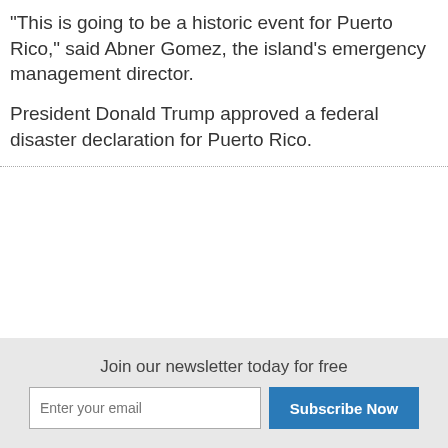"This is going to be a historic event for Puerto Rico," said Abner Gomez, the island's emergency management director.
President Donald Trump approved a federal disaster declaration for Puerto Rico.
Join our newsletter today for free